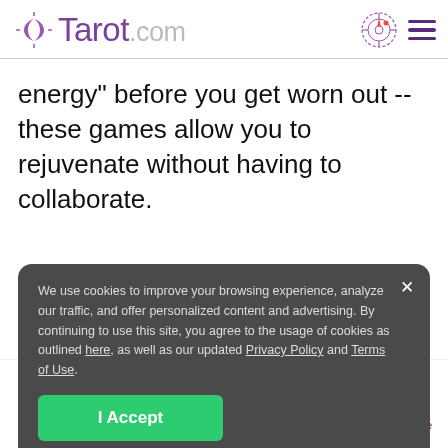Tarot.com
energy" before you get worn out -- these games allow you to rejuvenate without having to collaborate.
We use cookies to improve your browsing experience, analyze our traffic, and offer personalized content and advertising. By continuing to use this site, you agree to the usage of cookies as outlined here, as well as our updated Privacy Policy and Terms of Use.
I Accept
Readings | Cards & Decks | Birth Chart | Psychic Advice